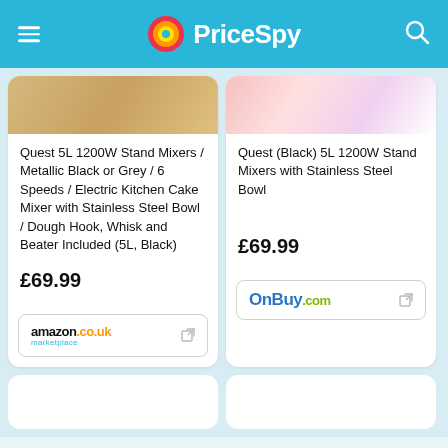PriceSpy
Quest 5L 1200W Stand Mixers / Metallic Black or Grey / 6 Speeds / Electric Kitchen Cake Mixer with Stainless Steel Bowl / Dough Hook, Whisk and Beater Included (5L, Black)
£69.99
[Figure (logo): Amazon.co.uk marketplace logo]
Quest (Black) 5L 1200W Stand Mixers with Stainless Steel Bowl
£69.99
[Figure (logo): OnBuy.com logo]